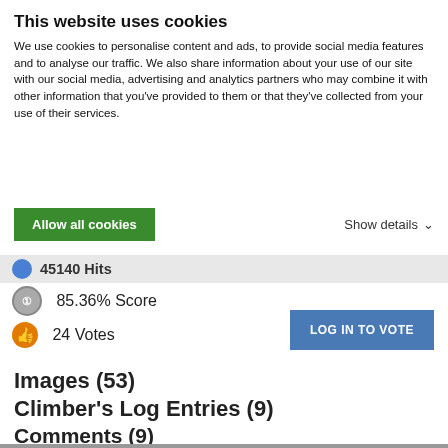This website uses cookies
We use cookies to personalise content and ads, to provide social media features and to analyse our traffic. We also share information about your use of our site with our social media, advertising and analytics partners who may combine it with other information that you've provided to them or that they've collected from your use of their services.
Allow all cookies
Show details
45140 Hits
85.36% Score
24 Votes
LOG IN TO VOTE
Images (53)
Climber's Log Entries (9)
Comments (9)
Additions & Corrections